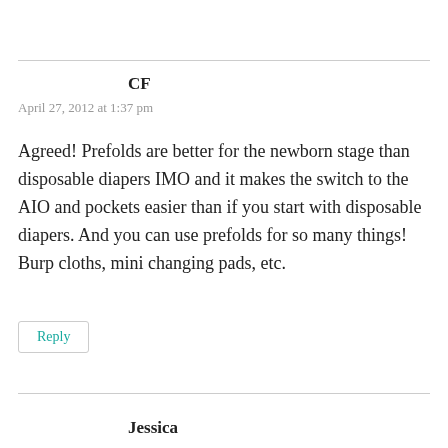CF
April 27, 2012 at 1:37 pm
Agreed! Prefolds are better for the newborn stage than disposable diapers IMO and it makes the switch to the AIO and pockets easier than if you start with disposable diapers. And you can use prefolds for so many things! Burp cloths, mini changing pads, etc.
Reply
Jessica